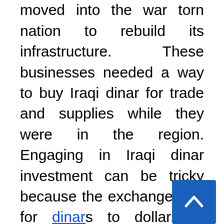after, private contractors moved into the war torn nation to rebuild its infrastructure. These businesses needed a way to buy Iraqi dinar for trade and supplies while they were in the region. Engaging in Iraqi dinar investment can be tricky because the exchange rate for dinars to dollars is always fluctuating.
The history of the dinar is a storied one. Previously the Iraqi monetary system was based on the Indian rupee due to the British occupation that began with the first World War. Since the Iraqi dinar has become the main currency in the country, many changes have taken place. For example, in the 1970's when the US dollar was being devalued the [Iraqi dinar] did not follow suit, rising to almost three dollars